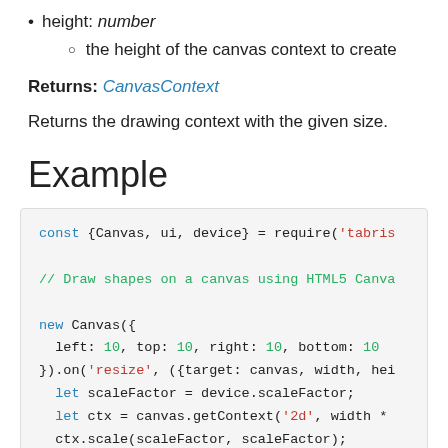height: number
the height of the canvas context to create
Returns: CanvasContext
Returns the drawing context with the given size.
Example
[Figure (screenshot): Code block showing JavaScript example with const {Canvas, ui, device} = require('tabris'), a comment, new Canvas with layout properties, .on('resize') handler, let scaleFactor, let ctx = canvas.getContext('2d', width *), ctx.scale(scaleFactor, scaleFactor), ctx.strokeStyle = 'rgb(78, 154, 217)';]